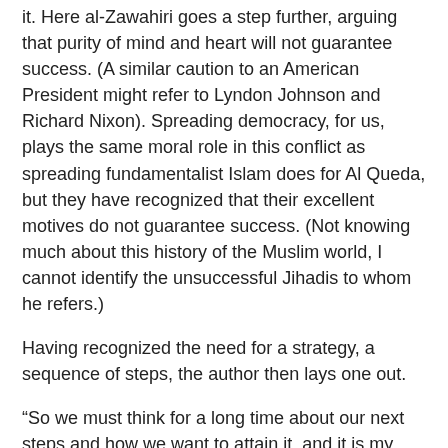it. Here al-Zawahiri goes a step further, arguing that purity of mind and heart will not guarantee success. (A similar caution to an American President might refer to Lyndon Johnson and Richard Nixon). Spreading democracy, for us, plays the same moral role in this conflict as spreading fundamentalist Islam does for Al Queda, but they have recognized that their excellent motives do not guarantee success. (Not knowing much about this history of the Muslim world, I cannot identify the unsuccessful Jihadis to whom he refers.)
Having recognized the need for a strategy, a sequence of steps, the author then lays one out.
“So we must think for a long time about our next steps and how we want to attain it, and it is my humble opinion that the Jihad in Iraq requires several incremental goals:
“The first stage: Expel the Americans from Iraq.
“The second stage: Establish an Islamic authority or amirate, then develop it and support it until it achieves the level of a caliphate- over as much territory as you can to spread its